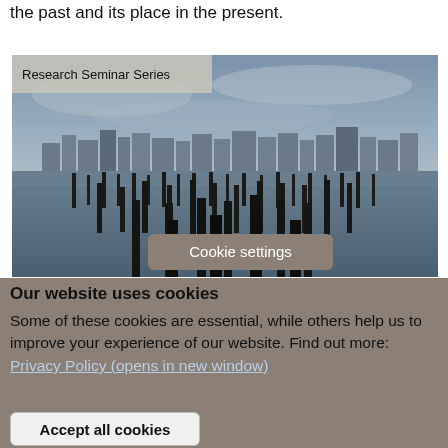the past and its place in the present.
[Figure (photo): Photograph of wooden pilings/posts standing in water with a city skyline in the background under a cloudy blue-grey sky. Overlaid with a 'Research Seminar Series' label in the top-left corner and a 'Cookie settings' button overlay near the bottom center.]
Cookie settings
Our website uses cookies
Some of these cookies are essential, while others help us to improve your experience of our website. Find out more: Privacy Policy (opens in new window)
Accept all cookies